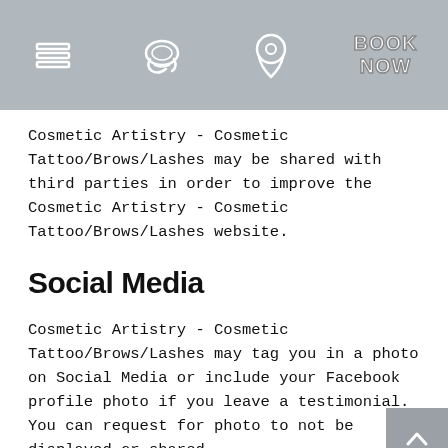[Navigation bar with hamburger menu, phone icon, location pin icon, and BOOK NOW button]
Cosmetic Artistry - Cosmetic Tattoo/Brows/Lashes may be shared with third parties in order to improve the Cosmetic Artistry - Cosmetic Tattoo/Brows/Lashes website.
Social Media
Cosmetic Artistry - Cosmetic Tattoo/Brows/Lashes may tag you in a photo on Social Media or include your Facebook profile photo if you leave a testimonial. You can request for photo to not be displayed or shared.
Business Transfers